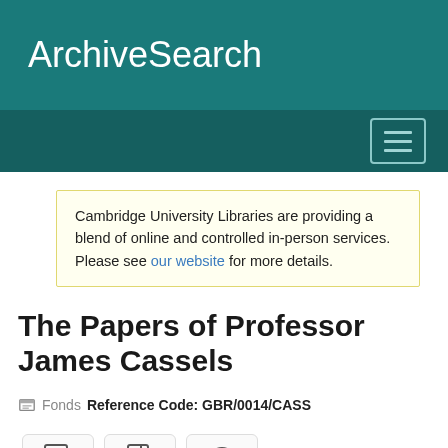ArchiveSearch
Cambridge University Libraries are providing a blend of online and controlled in-person services. Please see our website for more details.
The Papers of Professor James Cassels
Fonds Reference Code: GBR/0014/CASS